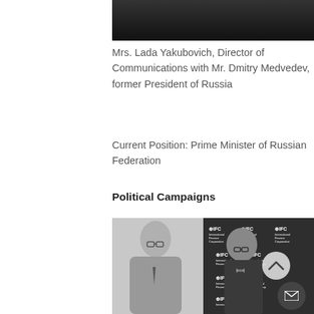[Figure (photo): Top portion of a black and white photo, partially visible at top of page]
Mrs. Lada Yakubovich, Director of Communications with Mr. Dmitry Medvedev, former President of Russia
Current Position: Prime Minister of Russian Federation
Political Campaigns
[Figure (photo): Black and white photo of two men standing in front of IFC (International Finance Corporation) branded backdrop. Left person wears glasses and a suit with a tie. Right person wears glasses and a bow tie. A circular navigation chevron button is overlaid on the right side of the image.]